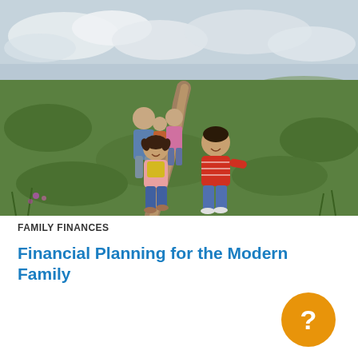[Figure (photo): A family with two adults and three children running along a dirt path through a green grassy field under a cloudy sky. Two children are in the foreground smiling and running toward the camera; one girl wears a yellow top and pink jacket, one boy wears a red striped shirt. Two more children and an adult male in a blue shirt are visible in the background.]
FAMILY FINANCES
Financial Planning for the Modern Family
[Figure (illustration): Orange circular speech bubble icon containing a white question mark, positioned in the lower right area of the page.]